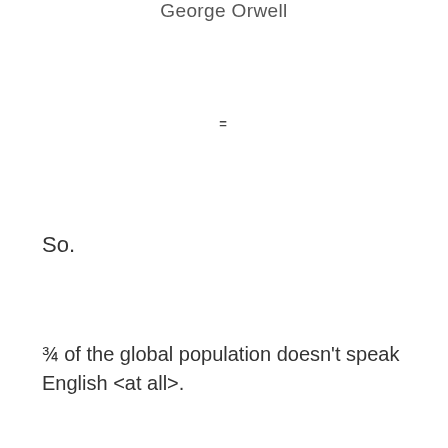George Orwell
=
So.
¾ of the global population doesn't speak English <at all>.